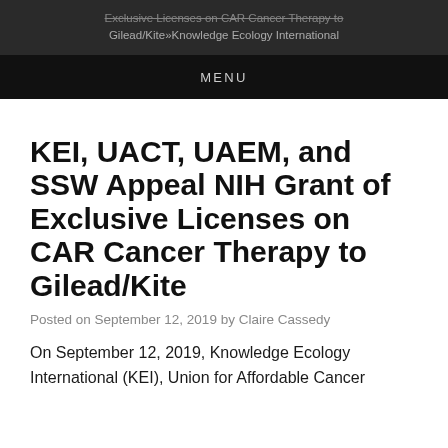Exclusive Licenses on CAR Cancer Therapy to Gilead/Kite » Knowledge Ecology International
MENU
KEI, UACT, UAEM, and SSW Appeal NIH Grant of Exclusive Licenses on CAR Cancer Therapy to Gilead/Kite
Posted on September 12, 2019 by Claire Cassedy
On September 12, 2019, Knowledge Ecology International (KEI), Union for Affordable Cancer